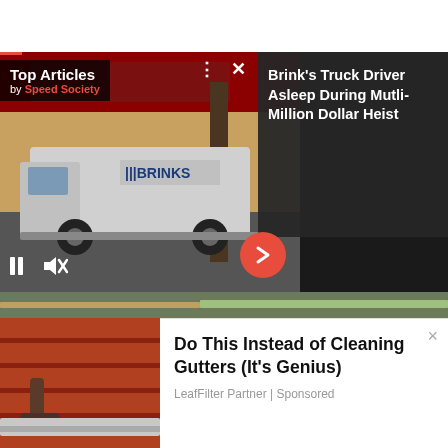[Figure (screenshot): Top Articles video card showing a Brinks armored truck with overlay text 'Brink's Truck Driver Asleep During Mutli-Million Dollar Heist', Speed Society branding, video controls (pause, mute), and a red arrow button.]
Top Articles
by Speed Society
Brink's Truck Driver Asleep During Mutli-Million Dollar Heist
[Figure (photo): Close-up photo of a leaf-filled gutter with green lawn visible in background, person on ladder at right edge.]
[Figure (photo): Thumbnail of person cleaning gutter on roof.]
Do This Instead of Cleaning Gutters (It's Genius)
LeafFilter Partner | Sponsored